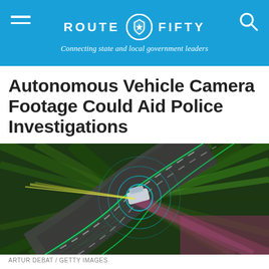ROUTE FIFTY — Connecting state and local government leaders
Autonomous Vehicle Camera Footage Could Aid Police Investigations
[Figure (photo): Aerial view of an autonomous vehicle on a curving road with green trees surrounding it, overlaid with digital sensor/camera visualization lines and cyan radar circles, motion-blur effect applied]
ARTUR DEBAT / GETTY IMAGES